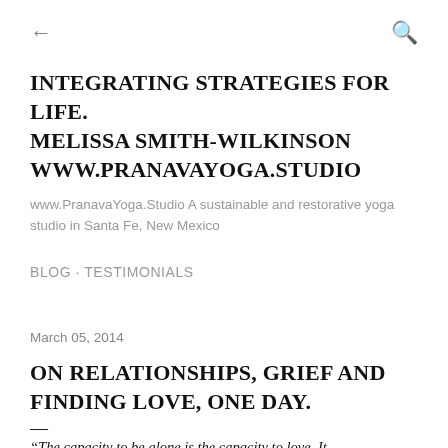← (back arrow)  Q (search icon)
INTEGRATING STRATEGIES FOR LIFE. MELISSA SMITH-WILKINSON WWW.PRANAVAYOGA.STUDIO
www.PranavaYoga.Studio A sustainable and restorative yoga studio in Santa Fe, New Mexico
BLOG · TESTIMONIALS
March 05, 2014
ON RELATIONSHIPS, GRIEF AND FINDING LOVE, ONE DAY.
—
“The capacity to be alone is the capacity to love. It may look paradoxical to you, but it's not. It is an